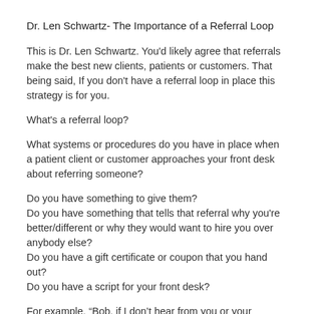Dr. Len Schwartz- The Importance of a Referral Loop
This is Dr. Len Schwartz. You'd likely agree that referrals make the best new clients, patients or customers. That being said, If you don't have a referral loop in place this strategy is for you.
What's a referral loop?
What systems or procedures do you have in place when a patient client or customer approaches your front desk about referring someone?
Do you have something to give them?
Do you have something that tells that referral why you're better/different or why they would want to hire you over anybody else?
Do you have a gift certificate or coupon that you hand out?
Do you have a script for your front desk?
For example, “Bob, if I don’t hear from you or your referral, Joe, in